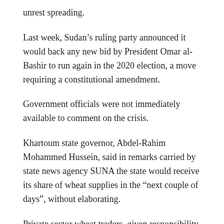unrest spreading.
Last week, Sudan’s ruling party announced it would back any new bid by President Omar al-Bashir to run again in the 2020 election, a move requiring a constitutional amendment.
Government officials were not immediately available to comment on the crisis.
Khartoum state governor, Abdel-Rahim Mohammed Hussein, said in remarks carried by state news agency SUNA the state would receive its share of wheat supplies in the “next couple of days”, without elaborating.
Private sector wheat traders, given responsibility for imports by government at the start of this year, blamed flour shortages for reasons procurement etc.